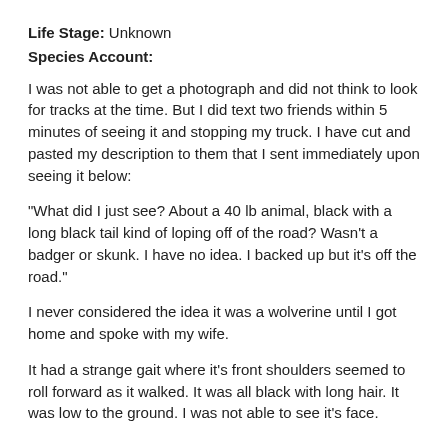Life Stage: Unknown
Species Account:
I was not able to get a photograph and did not think to look for tracks at the time. But I did text two friends within 5 minutes of seeing it and stopping my truck. I have cut and pasted my description to them that I sent immediately upon seeing it below:
"What did I just see? About a 40 lb animal, black with a long black tail kind of loping off of the road? Wasn't a badger or skunk. I have no idea. I backed up but it's off the road."
I never considered the idea it was a wolverine until I got home and spoke with my wife.
It had a strange gait where it's front shoulders seemed to roll forward as it walked. It was all black with long hair. It was low to the ground. I was not able to see it's face.